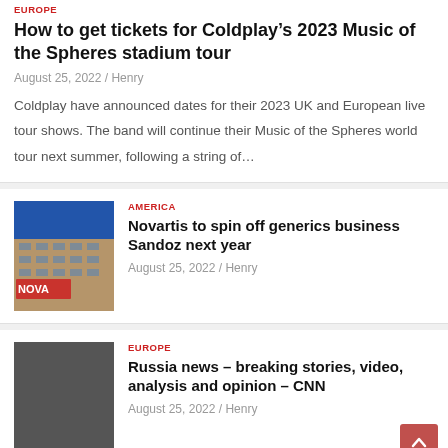EUROPE
How to get tickets for Coldplay’s 2023 Music of the Spheres stadium tour
August 25, 2022 / Henry
Coldplay have announced dates for their 2023 UK and European live tour shows. The band will continue their Music of the Spheres world tour next summer, following a string of…
AMERICA
[Figure (photo): Novartis building exterior with logo]
Novartis to spin off generics business Sandoz next year
August 25, 2022 / Henry
EUROPE
[Figure (photo): Dark gray placeholder image]
Russia news – breaking stories, video, analysis and opinion – CNN
August 25, 2022 / Henry